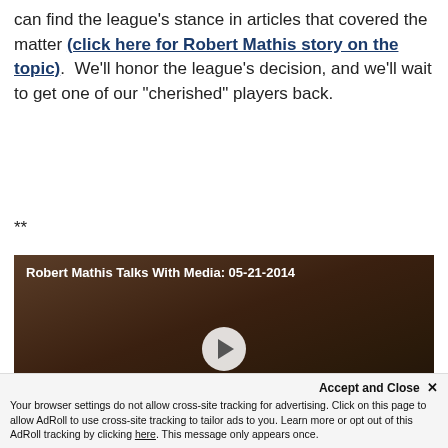can find the league's stance in articles that covered the matter (click here for Robert Mathis story on the topic).  We'll honor the league's decision, and we'll wait to get one of our "cherished" players back.
**
[Figure (screenshot): Embedded video thumbnail showing Robert Mathis with title 'Robert Mathis Talks With Media: 05-21-2014' and a play button overlay]
Accept and Close ×
Your browser settings do not allow cross-site tracking for advertising. Click on this page to allow AdRoll to use cross-site tracking to tailor ads to you. Learn more or opt out of this AdRoll tracking by clicking here. This message only appears once.